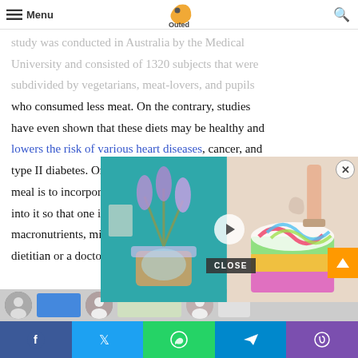Menu | Outed (logo) | Search
study was conducted in Australia by the Medical University and consisted of 1320 subjects that were subdivided by vegetarians, meat-lovers, and pupils who consumed less meat. On the contrary, studies have even shown that these diets may be healthy and lowers the risk of various heart diseases, cancer, and type II diabetes. One way meal is to incorporate enough into it so that one is getting macronutrients, minerals, and dietitian or a doctor is the best way to ensure that.
[Figure (screenshot): Embedded video overlay showing two panels: left panel with a lavender plant in a decorative pot, right panel with hands decorating a multi-colored cake. Play button in center.]
Facebook | Twitter | WhatsApp | Telegram | Phone